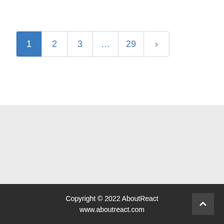[Figure (screenshot): Pagination control showing page 1 active (blue), pages 2, 3, ellipsis, 29, and a next arrow button]
Copyright © 2022 AboutReact
www.aboutreact.com